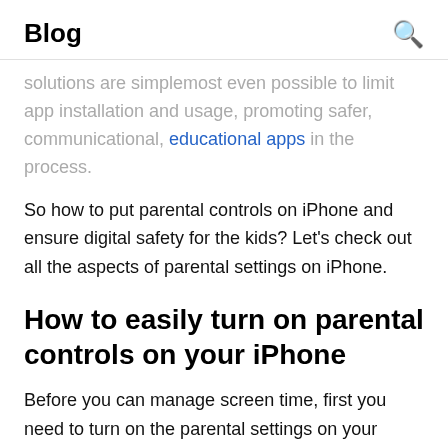Blog
solutions are simplemost even possible to limit app installation and usage, promoting safer, communicational, educational apps in the process.
So how to put parental controls on iPhone and ensure digital safety for the kids? Let's check out all the aspects of parental settings on iPhone.
How to easily turn on parental controls on your iPhone
Before you can manage screen time, first you need to turn on the parental settings on your iPhone. It's relatively simple, all you have to do is access the